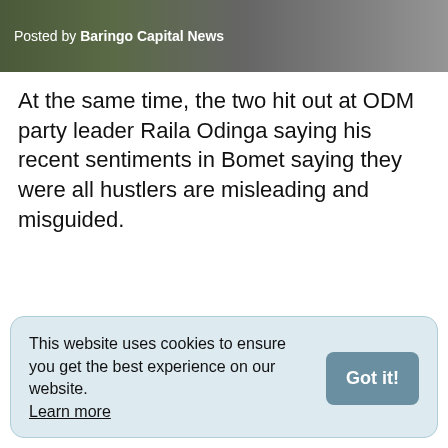Posted by Baringo Capital News
At the same time, the two hit out at ODM party leader Raila Odinga saying his recent sentiments in Bomet saying they were all hustlers are misleading and misguided.
This website uses cookies to ensure you get the best experience on our website. Learn more